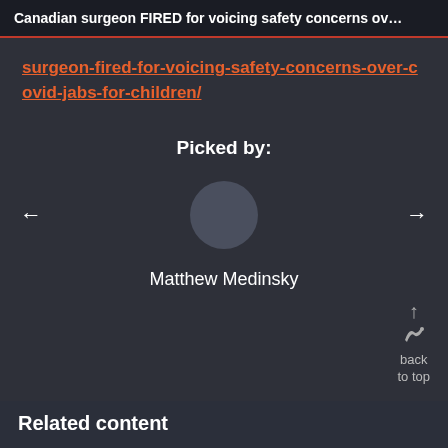Canadian surgeon FIRED for voicing safety concerns ov…
surgeon-fired-for-voicing-safety-concerns-over-covid-jabs-for-children/
Picked by:
[Figure (illustration): Circular avatar placeholder (grey circle) for user Matthew Medinsky, with left and right navigation arrows on either side]
Matthew Medinsky
back to top
Related content